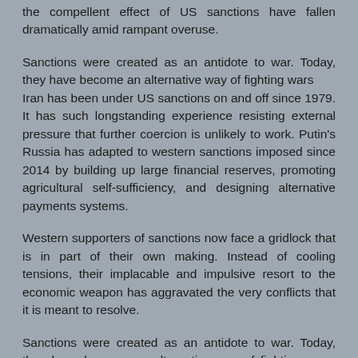the compellent effect of US sanctions have fallen dramatically amid rampant overuse.
Sanctions were created as an antidote to war. Today, they have become an alternative way of fighting wars
Iran has been under US sanctions on and off since 1979. It has such longstanding experience resisting external pressure that further coercion is unlikely to work. Putin's Russia has adapted to western sanctions imposed since 2014 by building up large financial reserves, promoting agricultural self-sufficiency, and designing alternative payments systems.
Western supporters of sanctions now face a gridlock that is in part of their own making. Instead of cooling tensions, their implacable and impulsive resort to the economic weapon has aggravated the very conflicts that it is meant to resolve.
Sanctions were created as an antidote to war. Today, they have become an alternative way of fighting wars, perpetuating conflicts but not defusing them. To understand